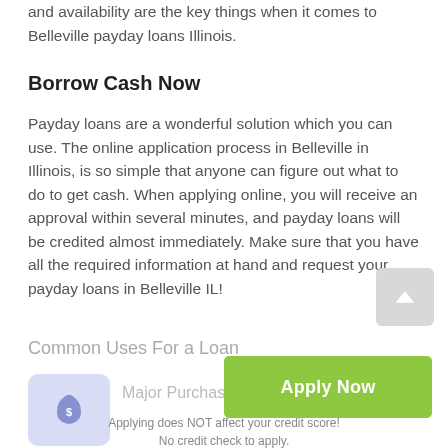and availability are the key things when it comes to Belleville payday loans Illinois.
Borrow Cash Now
Payday loans are a wonderful solution which you can use. The online application process in Belleville in Illinois, is so simple that anyone can figure out what to do to get cash. When applying online, you will receive an approval within several minutes, and payday loans will be credited almost immediately. Make sure that you have all the required information at hand and request your payday loans in Belleville IL!
Common Uses For a Loan
[Figure (other): Green Apply Now button overlay]
[Figure (illustration): Purple/lavender money bag icon in a rounded square]
Major Purchases
Applying does NOT affect your credit score!
No credit check to apply.